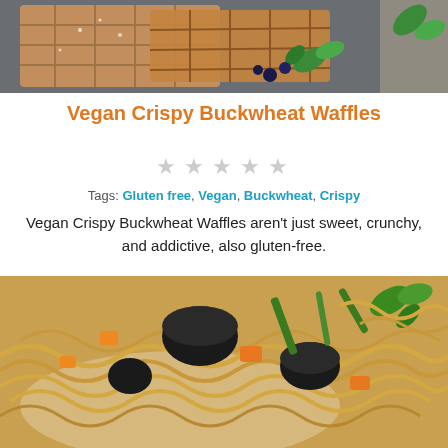[Figure (photo): Close-up photo of vegan crispy buckwheat waffles dusted with powdered sugar, garnished with mint leaves and blueberries on a dark background]
Vegan Crispy Buckwheat Waffles
[Figure (other): Five grey star rating icons]
Tags: Gluten free, Vegan, Buckwheat, Crispy
Vegan Crispy Buckwheat Waffles aren't just sweet, crunchy, and addictive, also gluten-free.
[Figure (photo): Close-up photo of stir-fried noodles with black mushrooms, orange bell peppers, green beans, and fresh herbs in a white bowl]